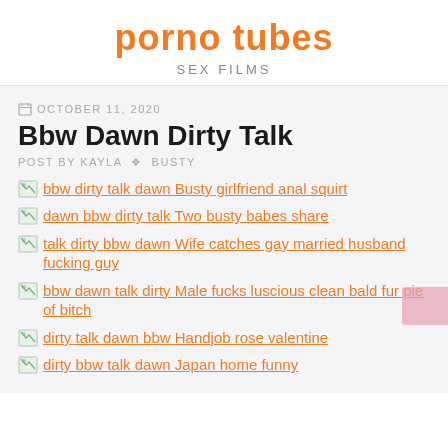porno tubes
SEX FILMS
OCTOBER 11, 2020
Bbw Dawn Dirty Talk
POST BY KAYLA ✦ BUSTY
bbw dirty talk dawn Busty girlfriend anal squirt
dawn bbw dirty talk Two busty babes share
talk dirty bbw dawn Wife catches gay married husband fucking guy
bbw dawn talk dirty Male fucks luscious clean bald fur pie of bitch
dirty talk dawn bbw Handjob rose valentine
dirty bbw talk dawn Japan home funny